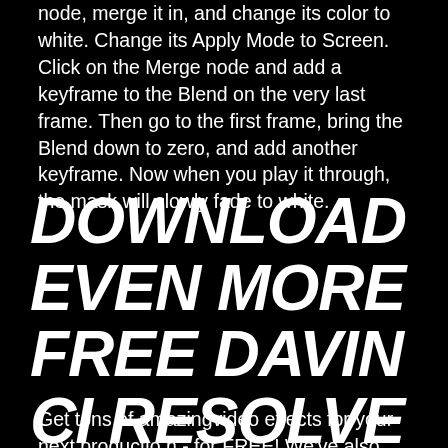node, merge it in, and change its color to white. Change its Apply Mode to Screen. Click on the Merge node and add a keyframe to the Blend on the very last frame. Then go to the first frame, bring the Blend down to zero, and add another keyframe. Now when you play it through, the mask will slowly fade to white.
DOWNLOAD EVEN MORE FREE DAVIN CI RESOLVE VIDEO EFFECTS ON THE CI NEPACKS WEBSITE
Get tons of amazingvideo effects for your next production - for FREE! We've also developed a multitude of product